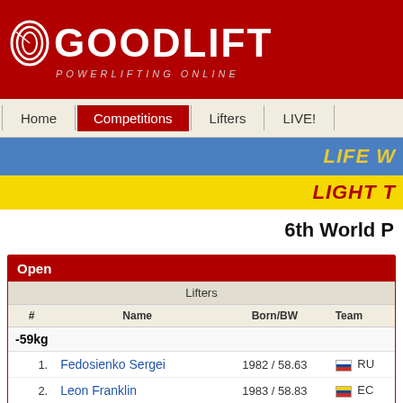[Figure (logo): Goodlift Powerlifting Online logo on red background]
Home | Competitions | Lifters | LIVE!
[Figure (infographic): Blue banner: LIFE W...]
[Figure (infographic): Yellow banner: LIGHT T...]
6th World P...
| # | Name | Born/BW | Team |
| --- | --- | --- | --- |
| 1. | Fedosienko Sergei | 1982 / 58.63 | RU |
| 2. | Leon Franklin | 1983 / 58.83 | EC |
| 3. | Mukhomedianov Evgenii | 1981 / 58.52 | RU |